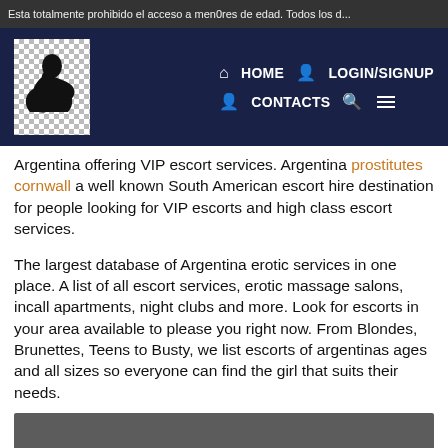Esta totalmente prohibido el acceso a men0res de edad. Todos los d...
[Figure (screenshot): Website navigation bar with dark navy background, logo silhouette of a woman, HOME, LOGIN/SIGNUP, CONTACTS, search icon, and hamburger menu icon]
Argentina offering VIP escort services. Argentina prostitutes cornwall a well known South American escort hire destination for people looking for VIP escorts and high class escort services.
The largest database of Argentina erotic services in one place. A list of all escort services, erotic massage salons, incall apartments, night clubs and more. Look for escorts in your area available to please you right now. From Blondes, Brunettes, Teens to Busty, we list escorts of argentinas ages and all sizes so everyone can find the girl that suits their needs.
[Figure (photo): Dark grey/charcoal rectangular photo placeholder block]